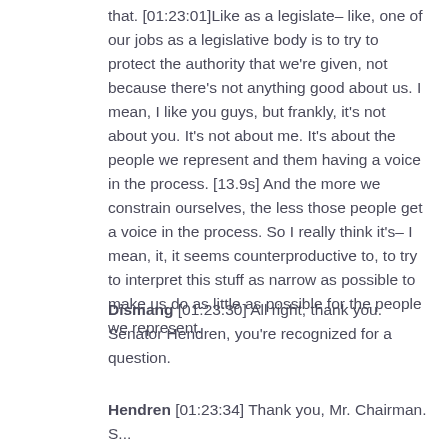that. [01:23:01]Like as a legislate– like, one of our jobs as a legislative body is to try to protect the authority that we're given, not because there's not anything good about us. I mean, I like you guys, but frankly, it's not about you. It's not about me. It's about the people we represent and them having a voice in the process. [13.9s] And the more we constrain ourselves, the less those people get a voice in the process. So I really think it's– I mean, it, it seems counterproductive to, to try to interpret this stuff as narrow as possible to make us do as little as possible for the people we represent.
Dismang [01:23:30] All right, thank you. Senator Hendren, you're recognized for a question.
Hendren [01:23:34] Thank you, Mr. Chairman. S...